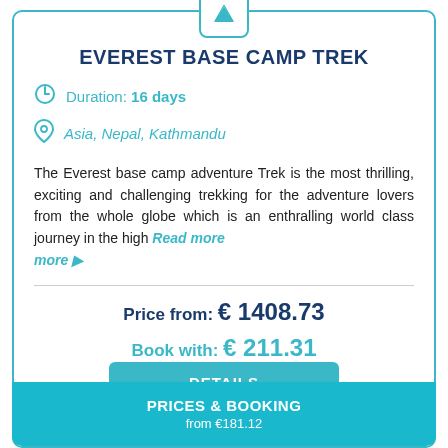EVEREST BASE CAMP TREK
Duration: 16 days
Asia, Nepal, Kathmandu
The Everest base camp adventure Trek is the most thrilling, exciting and challenging trekking for the adventure lovers from the whole globe which is an enthralling world class journey in the high Read more ▶
Price from: € 1408.73
Book with: € 211.31
DETAILS
PRICES & BOOKING from €181.12